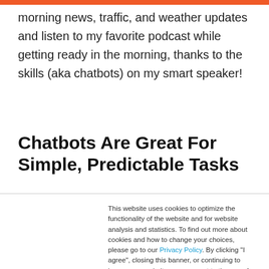morning news, traffic, and weather updates and listen to my favorite podcast while getting ready in the morning, thanks to the skills (aka chatbots) on my smart speaker!
Chatbots Are Great For Simple, Predictable Tasks
This website uses cookies to optimize the functionality of the website and for website analysis and statistics. To find out more about cookies and how to change your choices, please go to our Privacy Policy. By clicking "I agree", closing this banner, or continuing to browse our website, you consent to the use of such cookies.